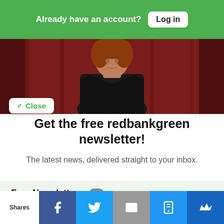Already have an account? Log in
[Figure (photo): Woman with curly red hair speaking in front of red curtains, partially visible at top of page]
✓ Close
Get the free redbankgreen newsletter!
The latest news, delivered straight to your inbox.
Free Newsletters 1
Daily Newsletter — Latest news and updates
Shares [Facebook] [Twitter] [Email] [SMS] [Crown]